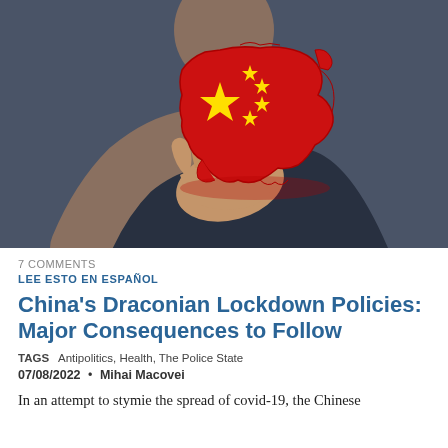[Figure (photo): A person in a dark blue hoodie holding up an open hand, with a 3D red map of China decorated with the Chinese flag (yellow star and four smaller stars on red background) floating above the palm. The image has a blurred dark background with the hand in the foreground.]
7 COMMENTS
LEE ESTO EN ESPAÑOL
China's Draconian Lockdown Policies: Major Consequences to Follow
TAGS  Antipolitics, Health, The Police State
07/08/2022  •  Mihai Macovei
In an attempt to stymie the spread of covid-19, the Chinese